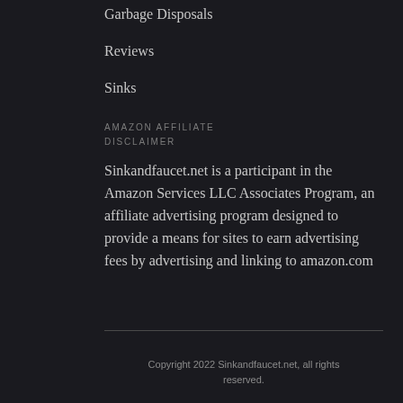Garbage Disposals
Reviews
Sinks
AMAZON AFFILIATE DISCLAIMER
Sinkandfaucet.net is a participant in the Amazon Services LLC Associates Program, an affiliate advertising program designed to provide a means for sites to earn advertising fees by advertising and linking to amazon.com
Copyright 2022 Sinkandfaucet.net, all rights reserved.